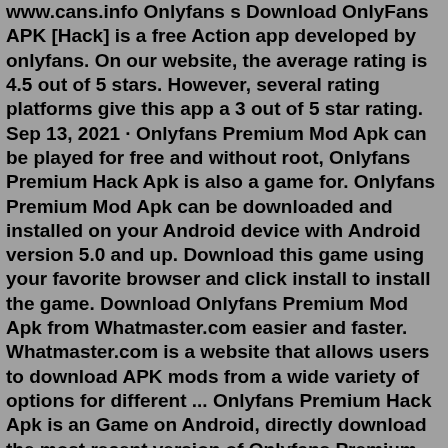www.cans.info Onlyfans s Download OnlyFans APK [Hack] is a free Action app developed by onlyfans. On our website, the average rating is 4.5 out of 5 stars. However, several rating platforms give this app a 3 out of 5 star rating. Sep 13, 2021 · Onlyfans Premium Mod Apk can be played for free and without root, Onlyfans Premium Hack Apk is also a game for. Onlyfans Premium Mod Apk can be downloaded and installed on your Android device with Android version 5.0 and up. Download this game using your favorite browser and click install to install the game. Download Onlyfans Premium Mod Apk from Whatmaster.com easier and faster. Whatmaster.com is a website that allows users to download APK mods from a wide variety of options for different ... Onlyfans Premium Hack Apk is an Game on Android, directly download the most recent version of Onlyfans Premium Hack Apk for android. Onlyfans Premium Hack Apk can be played free of charge and without root, Onlyfans Premium Hack Apk can also be a game title for.Onlyfans Premium Hack Apk can be